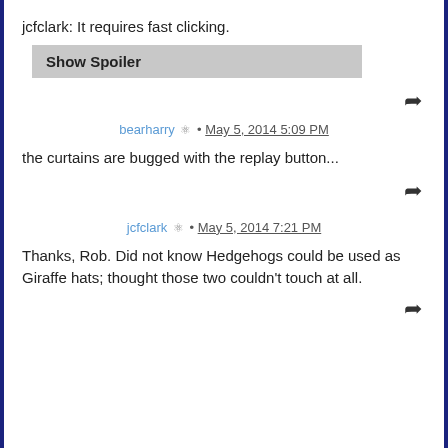jcfclark: It requires fast clicking.
[Figure (screenshot): Show Spoiler button (grey background)]
bearharry · May 5, 2014 5:09 PM
the curtains are bugged with the replay button...
jcfclark · May 5, 2014 7:21 PM
Thanks, Rob. Did not know Hedgehogs could be used as Giraffe hats; thought those two couldn't touch at all.